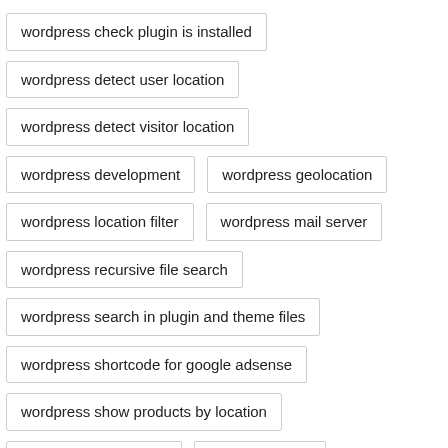wordpress check plugin is installed
wordpress detect user location
wordpress detect visitor location
wordpress development
wordpress geolocation
wordpress location filter
wordpress mail server
wordpress recursive file search
wordpress search in plugin and theme files
wordpress shortcode for google adsense
wordpress show products by location
wp-admin and attacks
wp ajax divided
wpdb debugging
wp security